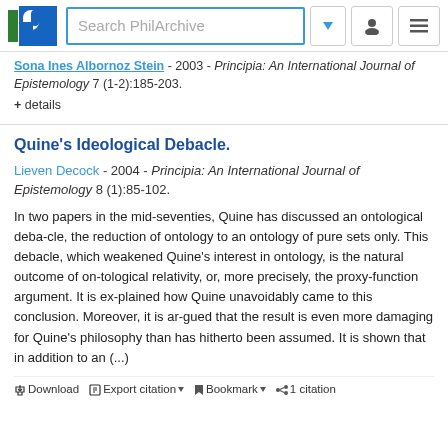Search PhilArchive
Sona Ines Albornoz Stein - 2003 - Principia: An International Journal of Epistemology 7 (1-2):185-203.
+ details
Quine's Ideological Debacle.
Lieven Decock - 2004 - Principia: An International Journal of Epistemology 8 (1):85-102.
In two papers in the mid-seventies, Quine has discussed an ontological deba-cle, the reduction of ontology to an ontology of pure sets only. This debacle, which weakened Quine’s interest in ontology, is the natural outcome of on-tological relativity, or, more precisely, the proxy-function argument. It is ex-plained how Quine unavoidably came to this conclusion. Moreover, it is ar-gued that the result is even more damaging for Quine’s philosophy than has hitherto been assumed. It is shown that in addition to an (...)
Download  Export citation  Bookmark  1 citation